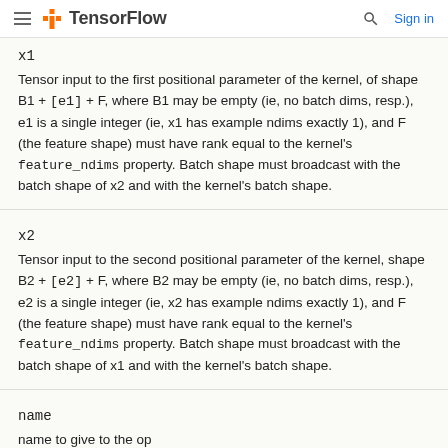TensorFlow  Sign in
x1
Tensor input to the first positional parameter of the kernel, of shape B1 + [e1] + F, where B1 may be empty (ie, no batch dims, resp.), e1 is a single integer (ie, x1 has example ndims exactly 1), and F (the feature shape) must have rank equal to the kernel's feature_ndims property. Batch shape must broadcast with the batch shape of x2 and with the kernel's batch shape.
x2
Tensor input to the second positional parameter of the kernel, shape B2 + [e2] + F, where B2 may be empty (ie, no batch dims, resp.), e2 is a single integer (ie, x2 has example ndims exactly 1), and F (the feature shape) must have rank equal to the kernel's feature_ndims property. Batch shape must broadcast with the batch shape of x1 and with the kernel's batch shape.
name
name to give to the op